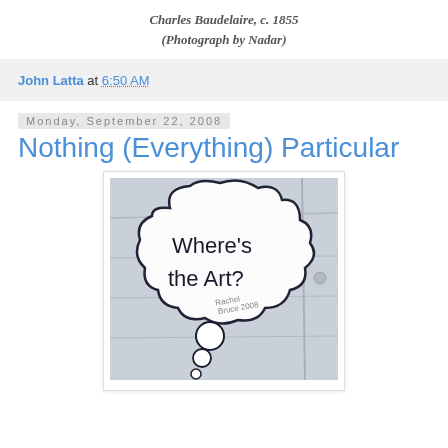Charles Baudelaire, c. 1855
(Photograph by Nadar)
John Latta at 6:50 AM
Monday, September 22, 2008
Nothing (Everything) Particular
[Figure (photo): A fabric or canvas surface with a hand-drawn thought bubble containing the text "Where's the Art?" and signed "Rachel Bruce 2008" in smaller text below inside the bubble.]